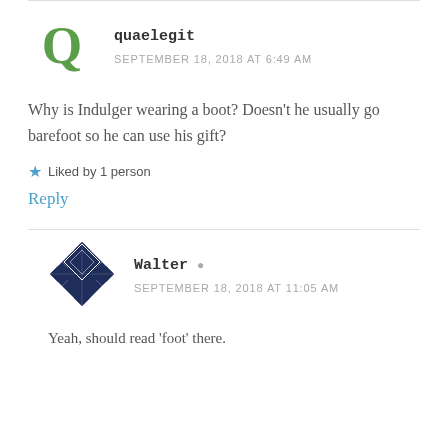[Figure (illustration): Green letter Q avatar for user quaelegit]
quaelegit
SEPTEMBER 18, 2018 AT 6:49 AM
Why is Indulger wearing a boot? Doesn't he usually go barefoot so he can use his gift?
★ Liked by 1 person
Reply
[Figure (illustration): Diamond-pattern quilt avatar for user Walter]
Walter
SEPTEMBER 18, 2018 AT 11:05 AM
Yeah, should read 'foot' there.